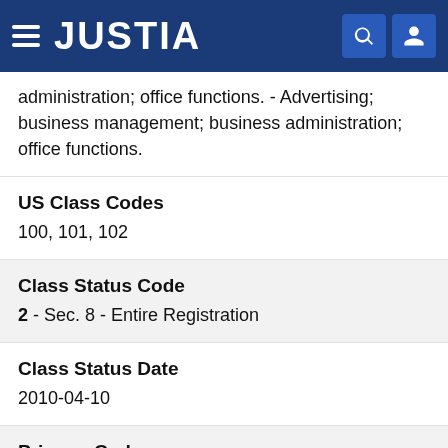JUSTIA
administration; office functions. - Advertising; business management; business administration; office functions.
US Class Codes
100, 101, 102
Class Status Code
2 - Sec. 8 - Entire Registration
Class Status Date
2010-04-10
Primary Code
035
First Use Anywhere Date
1997-10-09